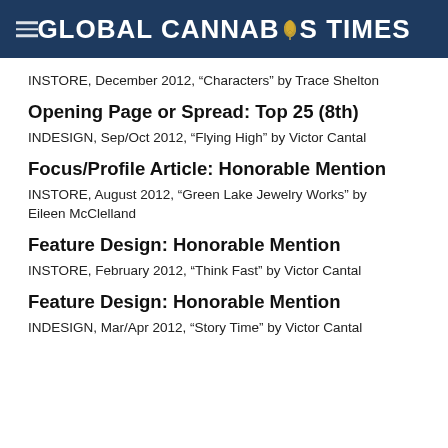GLOBAL CANNABIS TIMES
INSTORE, December 2012, “Characters” by Trace Shelton
Opening Page or Spread: Top 25 (8th)
INDESIGN, Sep/Oct 2012, “Flying High” by Victor Cantal
Focus/Profile Article: Honorable Mention
INSTORE, August 2012, “Green Lake Jewelry Works” by Eileen McClelland
Feature Design: Honorable Mention
INSTORE, February 2012, “Think Fast” by Victor Cantal
Feature Design: Honorable Mention
INDESIGN, Mar/Apr 2012, “Story Time” by Victor Cantal